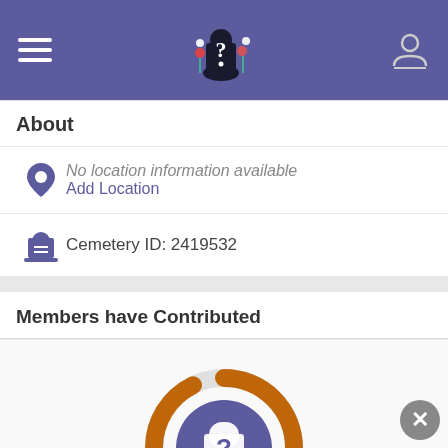Navigation bar with hamburger menu, site logo (question mark with flowers), and user profile icon
About
No location information available
Add Location
Cemetery ID: 2419532
Members have Contributed
[Figure (donut-chart): Donut/ring chart with orange arc (nearly complete ring) around a purple circle containing a gravestone with question mark icon. Represents memorial contributions.]
651 Memorials